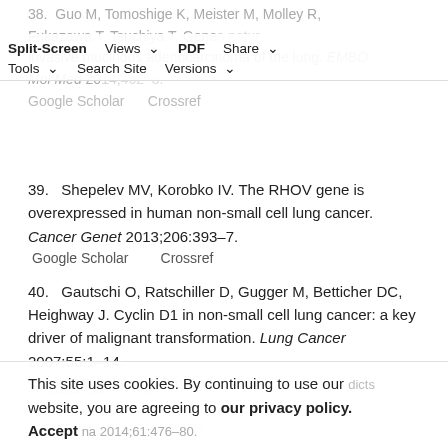38. Guo M, Tomoshige K, Meister M, Molley R, Fukazawa T, Tsuchiya T, Genes … invasive mucinous adenocarcinoma of the lung. EMBO Mol Med 2014;62–8. [Google Scholar] [Crossref]
39. Shepelev MV, Korobko IV. The RHOV gene is overexpressed in human non-small cell lung cancer. Cancer Genet 2013;206:393–7.
Google Scholar    Crossref
40. Gautschi O, Ratschiller D, Gugger M, Betticher DC, Heighway J. Cyclin D1 in non-small cell lung cancer: a key driver of malignant transformation. Lung Cancer 2007;55:1–14.
Google Scholar    Crossref
This site uses cookies. By continuing to use our website, you are agreeing to our privacy policy. Accept